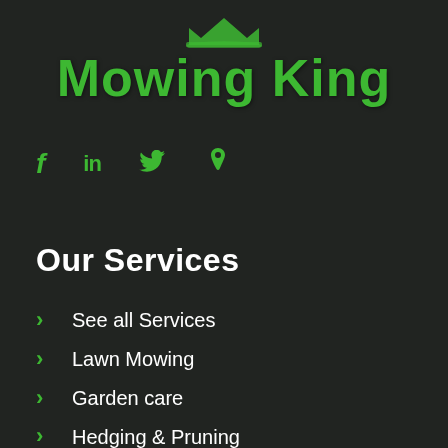[Figure (logo): Mowing King logo with green crown icon above bold green text 'Mowing King' on dark background]
[Figure (infographic): Social media icons: Facebook (f), LinkedIn (in), Twitter bird, Pinterest (p) in green color]
Our Services
See all Services
Lawn Mowing
Garden care
Hedging & Pruning
Rubbish Removal